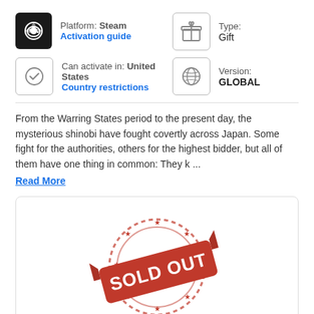Platform: Steam
Activation guide
Type: Gift
Can activate in: United States
Country restrictions
Version: GLOBAL
From the Warring States period to the present day, the mysterious shinobi have fought covertly across Japan. Some fight for the authorities, others for the highest bidder, but all of them have one thing in common: They k ...
Read More
[Figure (illustration): Red SOLD OUT stamp graphic with circular border and stars, overlaid by a red banner-shaped label with bold white text reading SOLD OUT]
Sold out